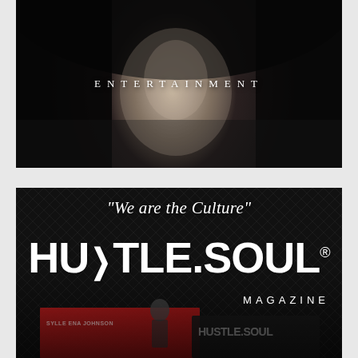[Figure (photo): Black and white photo of a man wearing a hoodie, moody dramatic lighting, face partially visible]
ENTERTAINMENT
[Figure (logo): Hustle Soul Magazine logo on dark textured background with quote 'We are the Culture' and magazine covers at bottom]
“We are the Culture”
HUSTLE.SOUL®
MAGAZINE